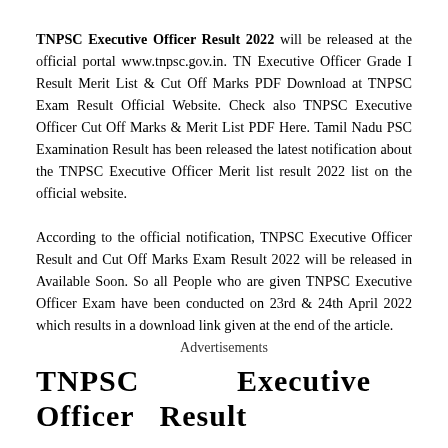TNPSC Executive Officer Result 2022 will be released at the official portal www.tnpsc.gov.in. TN Executive Officer Grade I Result Merit List & Cut Off Marks PDF Download at TNPSC Exam Result Official Website. Check also TNPSC Executive Officer Cut Off Marks & Merit List PDF Here. Tamil Nadu PSC Examination Result has been released the latest notification about the TNPSC Executive Officer Merit list result 2022 list on the official website.
According to the official notification, TNPSC Executive Officer Result and Cut Off Marks Exam Result 2022 will be released in Available Soon. So all People who are given TNPSC Executive Officer Exam have been conducted on 23rd & 24th April 2022 which results in a download link given at the end of the article.
Advertisements
TNPSC  Executive  Officer  Result